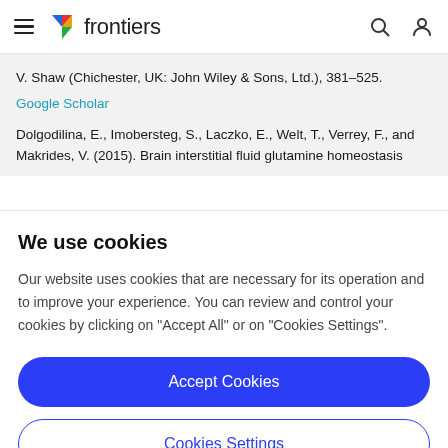frontiers
V. Shaw (Chichester, UK: John Wiley & Sons, Ltd.), 381–525.
Google Scholar
Dolgodilina, E., Imobersteg, S., Laczko, E., Welt, T., Verrey, F., and Makrides, V. (2015). Brain interstitial fluid glutamine homeostasis
We use cookies
Our website uses cookies that are necessary for its operation and to improve your experience. You can review and control your cookies by clicking on "Accept All" or on "Cookies Settings".
Accept Cookies
Cookies Settings